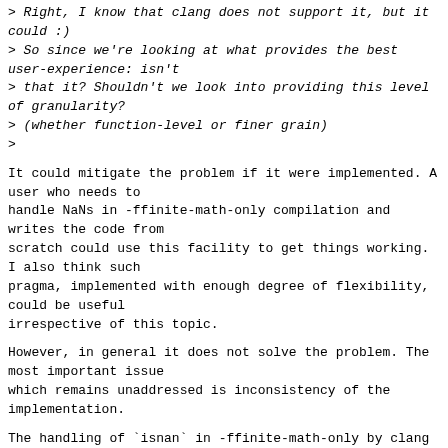> Right, I know that clang does not support it, but it could :)
> So since we're looking at what provides the best user-experience: isn't
> that it? Shouldn't we look into providing this level of granularity?
> (whether function-level or finer grain)
>
It could mitigate the problem if it were implemented. A user who needs to
handle NaNs in -ffinite-math-only compilation and writes the code from
scratch could use this facility to get things working. I also think such
pragma, implemented with enough degree of flexibility, could be useful
irrespective of this topic.
However, in general it does not solve the problem. The most important issue
which remains unaddressed is inconsistency of the implementation.
The handling of `isnan` in -ffinite-math-only by clang is not consistent
because:
- It differs from what other compilers do. Namely MSVC and Intel compiler
do not throw away `isnan` in this mode: